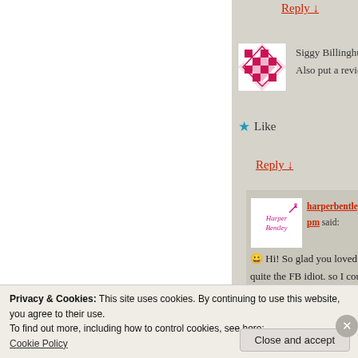Reply ↓
[Figure (illustration): Siggy Billinghurst avatar - pink/magenta geometric checkerboard pattern]
Siggy Billinghurst on Dece
Also put a review up on Am
★ Like
Reply ↓
[Figure (illustration): harperbentleywrites avatar - cursive logo with wand/sparkle on white background]
harperbentleywrites on ... pm said:
😀 Hi! So glad you loved it! That
quite the FB idiot. so I couldn't e
Privacy & Cookies: This site uses cookies. By continuing to use this website, you agree to their use. To find out more, including how to control cookies, see here: Cookie Policy
Close and accept